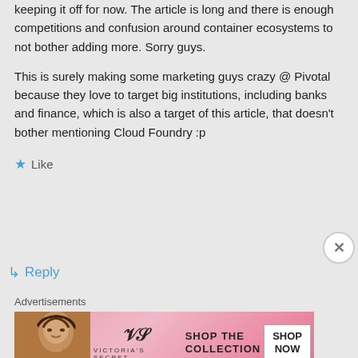keeping it off for now. The article is long and there is enough competitions and confusion around container ecosystems to not bother adding more. Sorry guys.
This is surely making some marketing guys crazy @ Pivotal because they love to target big institutions, including banks and finance, which is also a target of this article, that doesn't bother mentioning Cloud Foundry :p
★ Like
↳ Reply
Advertisements
[Figure (photo): Victoria's Secret advertisement banner with woman model, VS logo, 'SHOP THE COLLECTION' text and 'SHOP NOW' button]